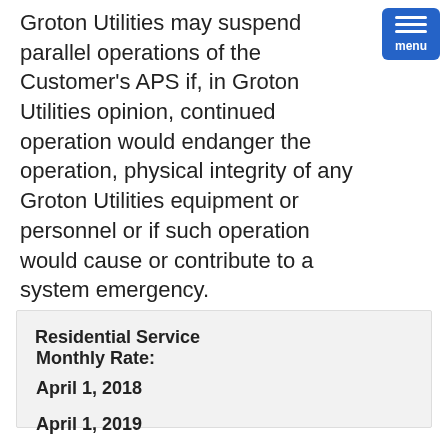Groton Utilities may suspend parallel operations of the Customer's APS if, in Groton Utilities opinion, continued operation would endanger the operation, physical integrity of any Groton Utilities equipment or personnel or if such operation would cause or contribute to a system emergency.
Residential Service
Monthly Rate:
April 1, 2018
April 1, 2019